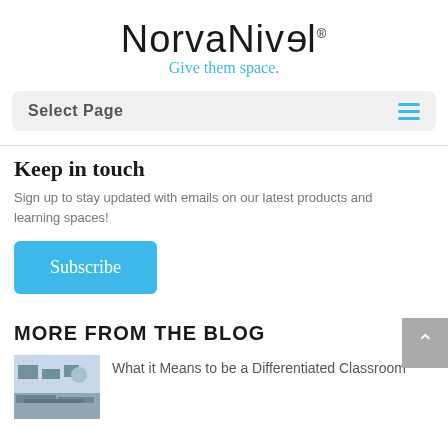[Figure (logo): NorvaNivel logo with tagline 'Give them space.']
Select Page
Keep in touch
Sign up to stay updated with emails on our latest products and learning spaces!
Subscribe
More From The Blog
[Figure (photo): Classroom photo showing students at tables]
What it Means to be a Differentiated Classroom